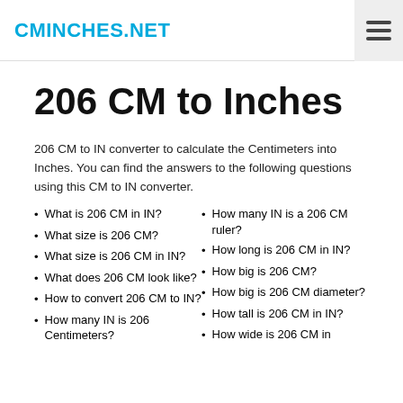CMINCHES.NET
206 CM to Inches
206 CM to IN converter to calculate the Centimeters into Inches. You can find the answers to the following questions using this CM to IN converter.
What is 206 CM in IN?
What size is 206 CM?
What size is 206 CM in IN?
What does 206 CM look like?
How to convert 206 CM to IN?
How many IN is 206 Centimeters?
How many IN is a 206 CM ruler?
How long is 206 CM in IN?
How big is 206 CM?
How big is 206 CM diameter?
How tall is 206 CM in IN?
How wide is 206 CM in